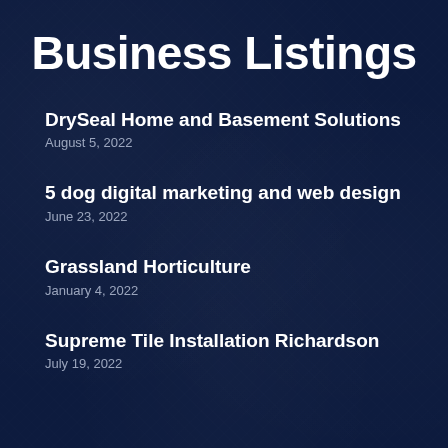Business Listings
DrySeal Home and Basement Solutions
August 5, 2022
5 dog digital marketing and web design
June 23, 2022
Grassland Horticulture
January 4, 2022
Supreme Tile Installation Richardson
July 19, 2022